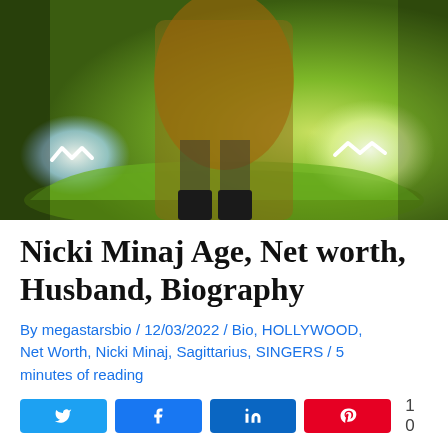[Figure (photo): Woman in fur coat and fishnet stockings posing in front of a green Lamborghini sports car]
Nicki Minaj Age, Net worth, Husband, Biography
By megastarsbio / 12/03/2022 / Bio, HOLLYWOOD, Net Worth, Nicki Minaj, Sagittarius, SINGERS / 5 minutes of reading
[Figure (other): Social share buttons: Twitter, Facebook, LinkedIn, Pinterest, and a count badge]